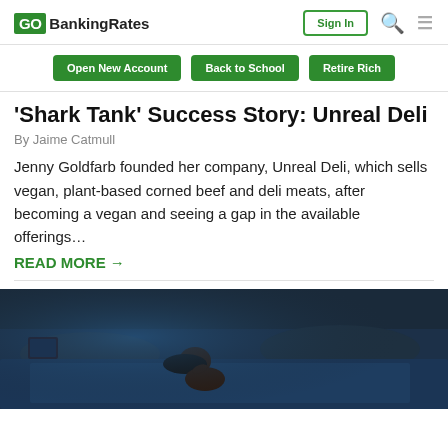GOBankingRates | Sign In
Open New Account | Back to School | Retire Rich
'Shark Tank' Success Story: Unreal Deli
By Jaime Catmull
Jenny Goldfarb founded her company, Unreal Deli, which sells vegan, plant-based corned beef and deli meats, after becoming a vegan and seeing a gap in the available offerings…
READ MORE →
[Figure (photo): Dark bedroom scene with a woman lying in bed, lit by blue ambient light, viewed from above.]